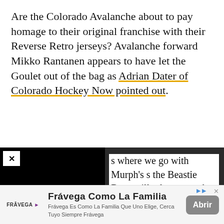Are the Colorado Avalanche about to pay homage to their original franchise with their Reverse Retro jerseys? Avalanche forward Mikko Rantanen appears to have let the Goulet out of the bag as Adrian Dater of Colorado Hockey Now pointed out.
[Figure (screenshot): Embedded video player with black background, white X close button, and a circular play indicator. Overlapping partial text reads: 's where we go with Murph’s s the Beastie Boys will release eased tracks and some old l hardcore days. Enjoy!']
Frávega Como La Familia
Frávega Es Como La Familia Que Uno Elige, Cerca Tuyo Siempre Frávega